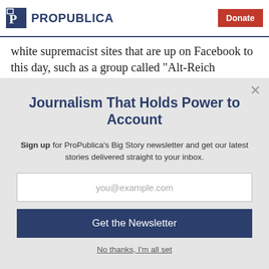ProPublica | Donate
white supremacist sites that are up on Facebook to this day, such as a group called “Alt-Reich Nation.” A
Journalism That Holds Power to Account
Sign up for ProPublica’s Big Story newsletter and get our latest stories delivered straight to your inbox.
you@example.com
Get the Newsletter
No thanks, I’m all set
This site is protected by reCAPTCHA and the Google Privacy Policy and Terms of Service apply.